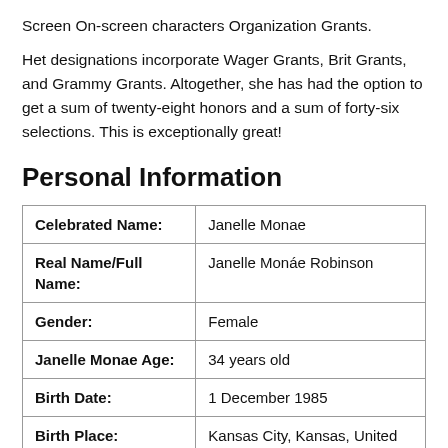Screen On-screen characters Organization Grants.
Het designations incorporate Wager Grants, Brit Grants, and Grammy Grants. Altogether, she has had the option to get a sum of twenty-eight honors and a sum of forty-six selections. This is exceptionally great!
Personal Information
| Celebrated Name: | Janelle Monae |
| Real Name/Full Name: | Janelle Monáe Robinson |
| Gender: | Female |
| Janelle Monae Age: | 34 years old |
| Birth Date: | 1 December 1985 |
| Birth Place: | Kansas City, Kansas, United States |